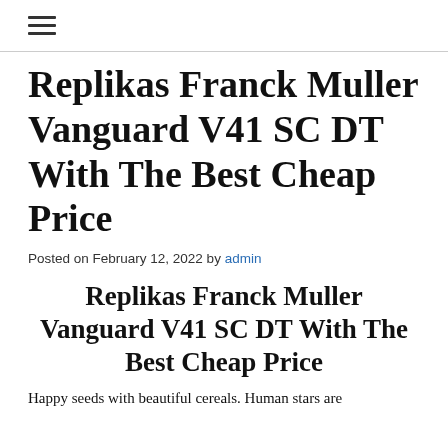≡
Replikas Franck Muller Vanguard V41 SC DT With The Best Cheap Price
Posted on February 12, 2022 by admin
Replikas Franck Muller Vanguard V41 SC DT With The Best Cheap Price
Happy seeds with beautiful cereals. Human stars are